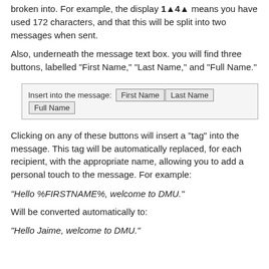broken into. For example, the display 1▲4▲ means you have used 172 characters, and that this will be split into two messages when sent.
Also, underneath the message text box. you will find three buttons, labelled "First Name," "Last Name," and "Full Name."
[Figure (screenshot): UI element showing 'Insert into the message:' label with three buttons: First Name, Last Name, Full Name]
Clicking on any of these buttons will insert a "tag" into the message. This tag will be automatically replaced, for each recipient, with the appropriate name, allowing you to add a personal touch to the message. For example:
"Hello %FIRSTNAME%, welcome to DMU."
Will be converted automatically to:
"Hello Jaime, welcome to DMU."